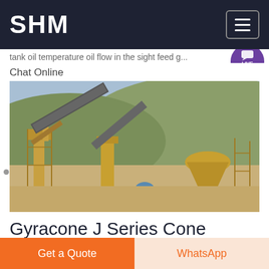SHM
tank oil temperature oil flow in the sight feed g...
Chat Online
[Figure (photo): Industrial cone crusher and conveyor belt plant setup outdoors with yellow machinery structures against a hillside background.]
Gyracone J Series Cone Crushers
Get a Quote
WhatsApp